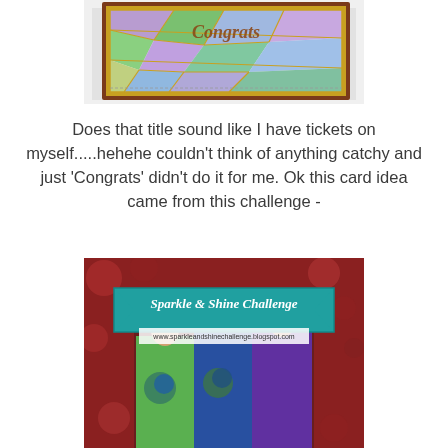[Figure (photo): A decorative card with colorful geometric stained-glass pattern in purples, greens, and blues with gold lines, displayed in a dark frame/mat on a white background]
Does that title sound like I have tickets on myself.....hehehe couldn't think of anything catchy and just 'Congrats' didn't do it for me. Ok this card idea came from this challenge -
[Figure (photo): Sparkle & Shine Challenge banner with www.sparkleandshinechallenge.blogspot.com URL, overlaid on a photo of three bridesmaids in green, blue, and purple dresses holding floral bouquets]